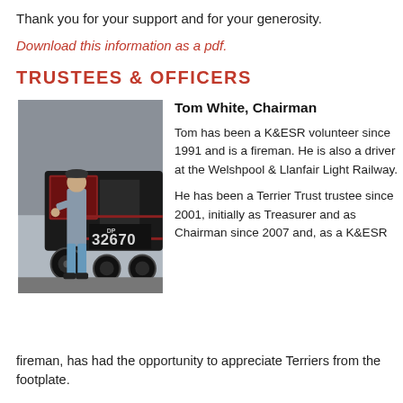Thank you for your support and for your generosity.
Download this information as a pdf.
TRUSTEES & OFFICERS
[Figure (photo): Man in overalls standing beside a black steam locomotive numbered 32670 on the K&ESR railway.]
Tom White, Chairman

Tom has been a K&ESR volunteer since 1991 and is a fireman. He is also a driver at the Welshpool & Llanfair Light Railway.

He has been a Terrier Trust trustee since 2001, initially as Treasurer and as Chairman since 2007 and, as a K&ESR fireman, has had the opportunity to appreciate Terriers from the footplate.